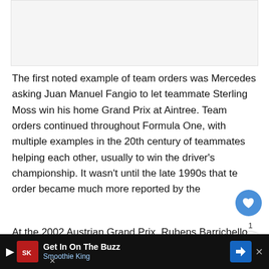[Figure (other): Gray placeholder image area at top of page]
The first noted example of team orders was Mercedes asking Juan Manuel Fangio to let teammate Sterling Moss win his home Grand Prix at Aintree. Team orders continued throughout Formula One, with multiple examples in the 20th century of teammates helping each other, usually to win the driver's championship. It wasn't until the late 1990s that te order became much more reported by the
At the 2002 Austrian Grand Prix, Rubens Barrichello
We... Sc...